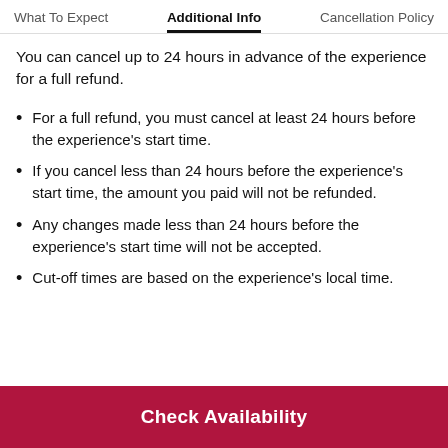What To Expect   Additional Info   Cancellation Policy
You can cancel up to 24 hours in advance of the experience for a full refund.
For a full refund, you must cancel at least 24 hours before the experience's start time.
If you cancel less than 24 hours before the experience's start time, the amount you paid will not be refunded.
Any changes made less than 24 hours before the experience's start time will not be accepted.
Cut-off times are based on the experience's local time.